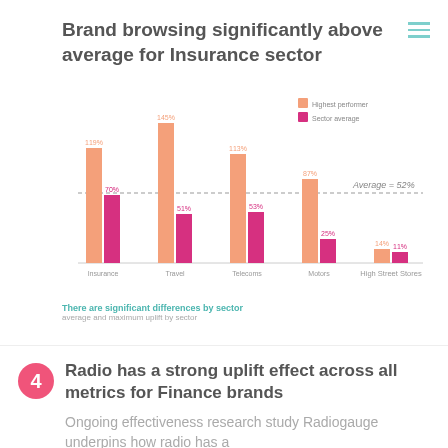Brand browsing significantly above average for Insurance sector
[Figure (grouped-bar-chart): There are significant differences by sector]
There are significant differences by sector
average and maximum uplift by sector
Radio has a strong uplift effect across all metrics for Finance brands
Ongoing effectiveness research study Radiogauge underpins how radio has a